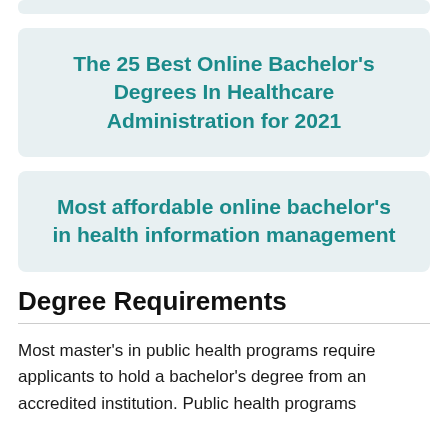The 25 Best Online Bachelor's Degrees In Healthcare Administration for 2021
Most affordable online bachelor's in health information management
Degree Requirements
Most master's in public health programs require applicants to hold a bachelor's degree from an accredited institution. Public health programs